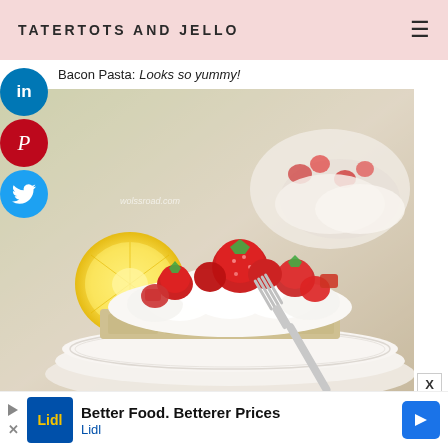TATERTOTS AND JELLO
Bacon Pasta: Looks so yummy!
[Figure (photo): A serving of strawberry icebox cake or layered dessert with whipped cream and fresh strawberries on a white plate, with a fork and lemon slice visible in the background. Watermark: wolssroad.com]
X
Better Food. Betterer Prices Lidl